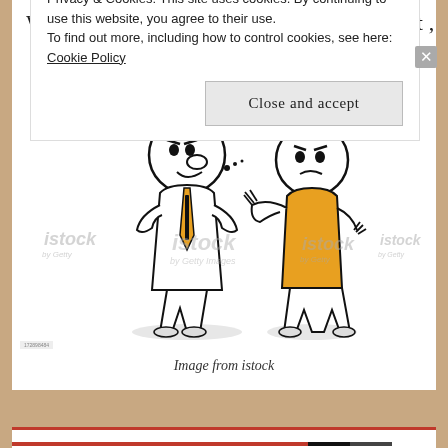Which money you want again , abeg get out ,
[Figure (illustration): Cartoon stick-figure illustration of two characters arguing. Left figure is a male in a suit with a yellow and black tie, right figure is a female with ponytail wearing a yellow top, gesturing with hands up. iStock watermarks visible throughout.]
Image from istock
Privacy & Cookies: This site uses cookies. By continuing to use this website, you agree to their use.
To find out more, including how to control cookies, see here: Cookie Policy
Close and accept